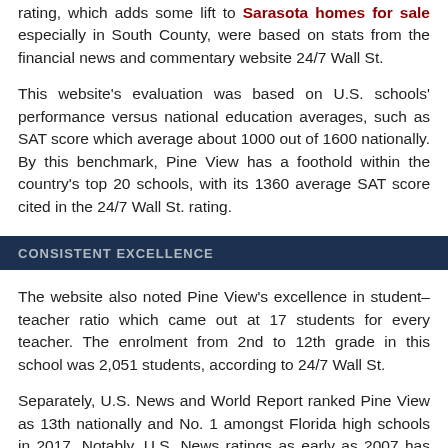rating, which adds some lift to Sarasota homes for sale especially in South County, were based on stats from the financial news and commentary website 24/7 Wall St.
This website's evaluation was based on U.S. schools' performance versus national education averages, such as SAT score which average about 1000 out of 1600 nationally. By this benchmark, Pine View has a foothold within the country's top 20 schools, with its 1360 average SAT score cited in the 24/7 Wall St. rating.
CONSISTENT EXCELLENCE
The website also noted Pine View's excellence in student–teacher ratio which came out at 17 students for every teacher. The enrolment from 2nd to 12th grade in this school was 2,051 students, according to 24/7 Wall St.
Separately, U.S. News and World Report ranked Pine View as 13th nationally and No. 1 amongst Florida high schools in 2017. Notably, U.S. News ratings as early as 2007 has ranked this school amongst the best nationally. The Florida